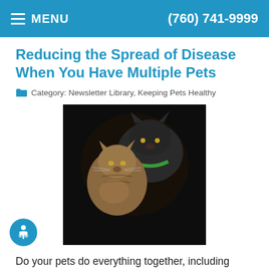MENU | (760) 741-9999
Reducing the Spread of Disease When You Have Multiple Pets
Category: Newsletter Library, Keeping Pets Healthy
[Figure (photo): Two cats sitting together against a dark background]
Do your pets do everything together, including sharing illnesses? These tips will help reduce the transmission of viruses and diseases.
Read more
What Your Pet's Stools Say About